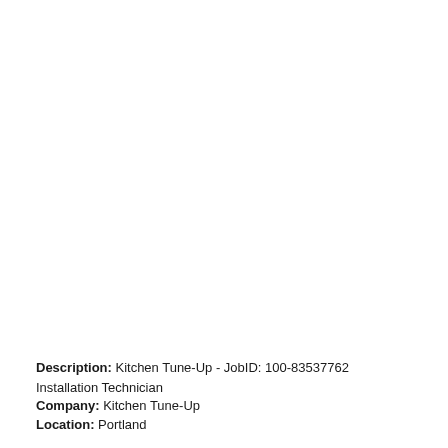Description: Kitchen Tune-Up - JobID: 100-83537762 Installation Technician
Company: Kitchen Tune-Up
Location: Portland